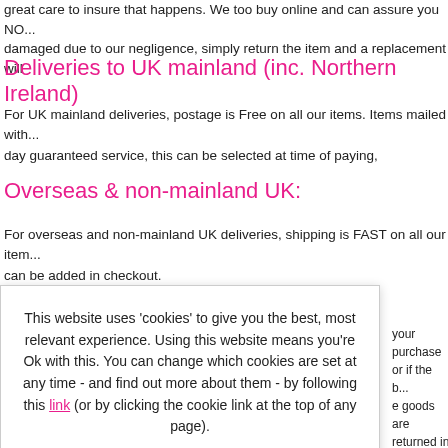great care to insure that happens. We too buy online and can assure you NO... damaged due to our negligence, simply return the item and a replacement will
Deliveries to UK mainland (inc. Northern Ireland)
For UK mainland deliveries, postage is Free on all our items. Items mailed with... day guaranteed service, this can be selected at time of paying,
Overseas & non-mainland UK:
For overseas and non-mainland UK deliveries, shipping is FAST on all our item... can be added in checkout.
R
E... your purchase or if the b... fo... e goods are returned in p... ite... und postage costs unless
[Figure (other): Cookie consent modal overlay with text: This website uses 'cookies' to give you the best, most relevant experience. Using this website means you're Ok with this. You can change which cookies are set at any time - and find out more about them - by following this link (or by clicking the cookie link at the top of any page). OK, I understand]
-- EU Sizes --   UK equivalent